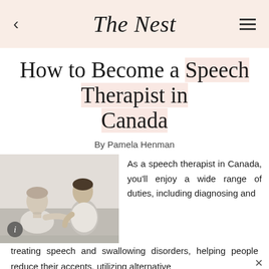The Nest
How to Become a Speech Therapist in Canada
By Pamela Henman
[Figure (photo): Black and white photo of two people, one appearing to be a speech therapist working with a patient]
As a speech therapist in Canada, you'll enjoy a wide range of duties, including diagnosing and treating speech and swallowing disorders, helping people reduce their accents, utilizing alternative